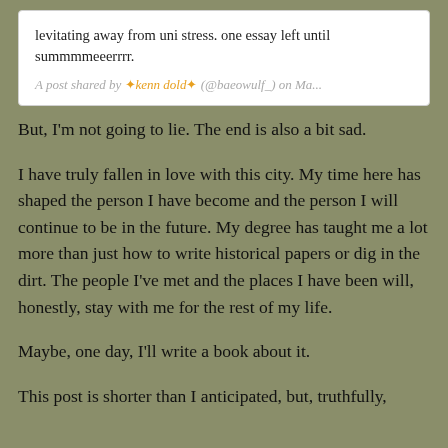[Figure (screenshot): Social media post card showing text: 'levitating away from uni stress. one essay left until summmmeeerrrr.' with attribution: 'A post shared by ✦kenn dold✦ (@baeowulf_) on Ma...']
But, I'm not going to lie. The end is also a bit sad.
I have truly fallen in love with this city. My time here has shaped the person I have become and the person I will continue to be in the future. My degree has taught me a lot more than just how to write historical papers or dig in the dirt. The people I've met and the places I have been will, honestly, stay with me for the rest of my life.
Maybe, one day, I'll write a book about it.
This post is shorter than I anticipated, but, truthfully,